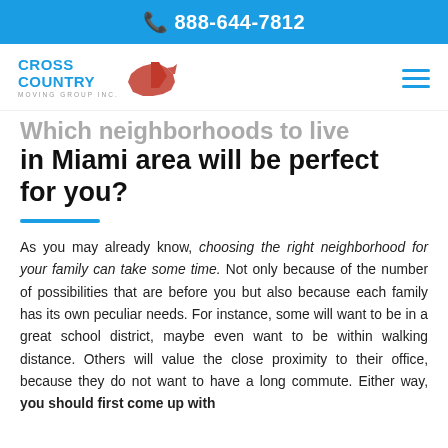📞 888-644-7812
[Figure (logo): Cross Country Moving Group Inc logo with red US map silhouette and blue text]
Which neighborhoods to live in Miami area will be perfect for you?
As you may already know, choosing the right neighborhood for your family can take some time. Not only because of the number of possibilities that are before you but also because each family has its own peculiar needs. For instance, some will want to be in a great school district, maybe even want to be within walking distance. Others will value the close proximity to their office, because they do not want to have a long commute. Either way, you should first come up with